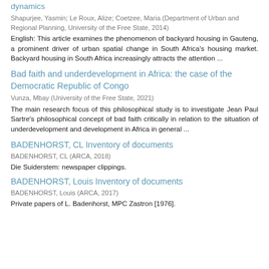dynamics
Shapurjee, Yasmin; Le Roux, Alize; Coetzee, Maria (Department of Urban and Regional Planning, University of the Free State, 2014)
English: This article examines the phenomenon of backyard housing in Gauteng, a prominent driver of urban spatial change in South Africa's housing market. Backyard housing in South Africa increasingly attracts the attention ...
Bad faith and underdevelopment in Africa: the case of the Democratic Republic of Congo
Vunza, Mbay (University of the Free State, 2021)
The main research focus of this philosophical study is to investigate Jean Paul Sartre's philosophical concept of bad faith critically in relation to the situation of underdevelopment and development in Africa in general ...
BADENHORST, CL Inventory of documents
BADENHORST, CL (ARCA, 2018)
Die Suiderstem: newspaper clippings.
BADENHORST, Louis Inventory of documents
BADENHORST, Louis (ARCA, 2017)
Private papers of L. Badenhorst, MPC Zastron [1976].